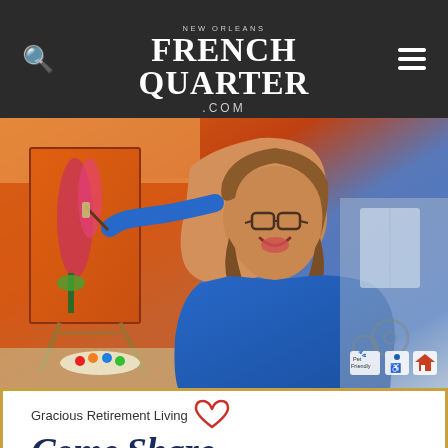New Orleans French Quarter .com
[Figure (photo): Smiling older woman in blue shirt painting on an orange canvas at an easel, with accessibility badges (Pet Friendly, wheelchair, equal housing) in bottom right corner]
Gracious Retirement Living
Come Share Our Enthusiasm